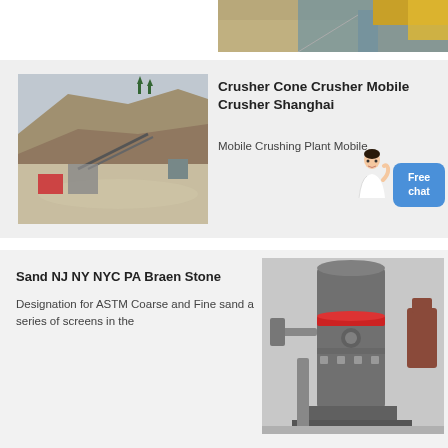[Figure (photo): Partial top image showing industrial equipment with yellow frame and teal/blue base on concrete floor]
[Figure (photo): Aerial/elevated view of a quarry or mining site with rocky terrain, conveyor structures, and machinery]
Crusher Cone Crusher Mobile Crusher Shanghai
Mobile Crushing Plant Mobile
[Figure (illustration): Customer service representative avatar with Free chat button in blue]
Sand NJ NY NYC PA Braen Stone
Designation for ASTM Coarse and Fine sand a series of screens in the
[Figure (photo): Industrial vertical mill or grinding machine, large gray cylindrical equipment in a factory setting]